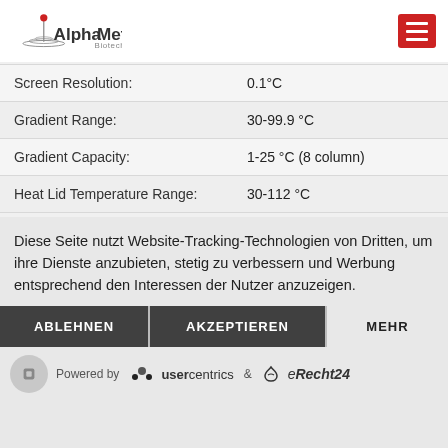[Figure (logo): AlphaMetrix Biotech logo with red dot and wave graphic, and hamburger menu button in red]
| Screen Resolution: | 0.1°C |
| Gradient Range: | 30-99.9 °C |
| Gradient Capacity: | 1-25 °C (8 column) |
| Heat Lid Temperature Range: | 30-112 °C |
Diese Seite nutzt Website-Tracking-Technologien von Dritten, um ihre Dienste anzubieten, stetig zu verbessern und Werbung entsprechend den Interessen der Nutzer anzuzeigen.
ABLEHNEN
AKZEPTIEREN
MEHR
Powered by usercentrics & eRecht24